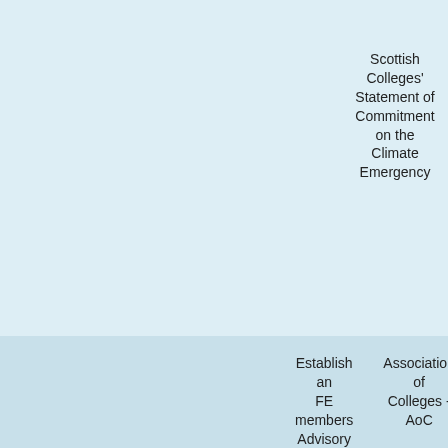Scottish Colleges' Statement of Commitment on the Climate Emergency
CDN Colleges Scotland and SFC (Scottish Funding Council)
Emer... many m... Scottish... of Co... Cli... inclu... which c... Statem... Ma... meet... ensure...
Establish an FE members Advisory Group
Association of Colleges - AoC
Review... of FE s... partic...